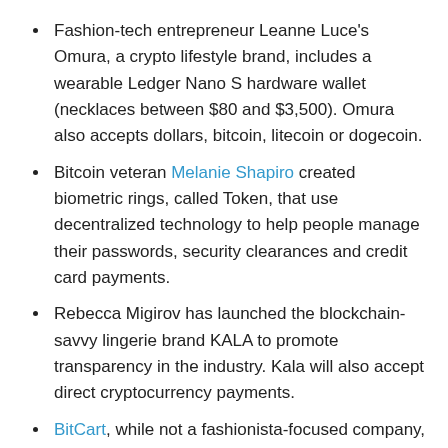Fashion-tech entrepreneur Leanne Luce's Omura, a crypto lifestyle brand, includes a wearable Ledger Nano S hardware wallet (necklaces between $80 and $3,500). Omura also accepts dollars, bitcoin, litecoin or dogecoin.
Bitcoin veteran Melanie Shapiro created biometric rings, called Token, that use decentralized technology to help people manage their passwords, security clearances and credit card payments.
Rebecca Migirov has launched the blockchain-savvy lingerie brand KALA to promote transparency in the industry. Kala will also accept direct cryptocurrency payments.
BitCart, while not a fashionista-focused company, has a wristband payment device for Dash cryptocurrency.
The last point is important, CoinDesk writer Leigh Cuen writes, noting the “stark aesthetic difference” between BitCart’s wearables and Luce’s or Shapiro’s jewelry. She argues that